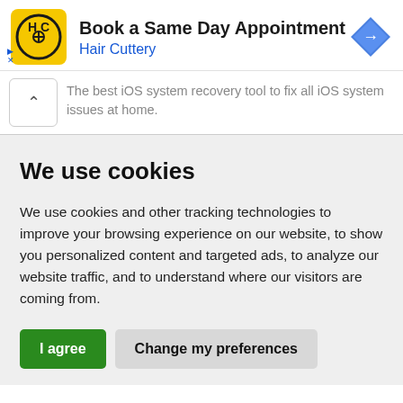[Figure (screenshot): Hair Cuttery advertisement banner with yellow square logo with HC initials, bold title 'Book a Same Day Appointment', subtitle 'Hair Cuttery' in blue, and a blue diamond navigation icon on the right. Small play and close controls at bottom left.]
The best iOS system recovery tool to fix all iOS system issues at home.
We use cookies
We use cookies and other tracking technologies to improve your browsing experience on our website, to show you personalized content and targeted ads, to analyze our website traffic, and to understand where our visitors are coming from.
I agree
Change my preferences